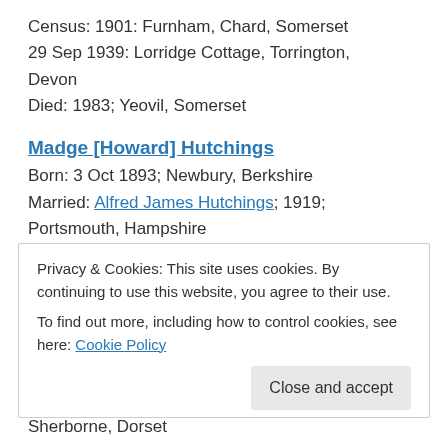Census: 1901: Furnham, Chard, Somerset
29 Sep 1939: Lorridge Cottage, Torrington, Devon
Died: 1983; Yeovil, Somerset
Madge [Howard] Hutchings
Born: 3 Oct 1893; Newbury, Berkshire
Married: Alfred James Hutchings; 1919; Portsmouth, Hampshire
Census: 29 Sep 1939: The Homestead, Langport, Somerset
Died: 1951; Yeovil, Somerset
Privacy & Cookies: This site uses cookies. By continuing to use this website, you agree to their use.
To find out more, including how to control cookies, see here: Cookie Policy
Sherborne, Dorset